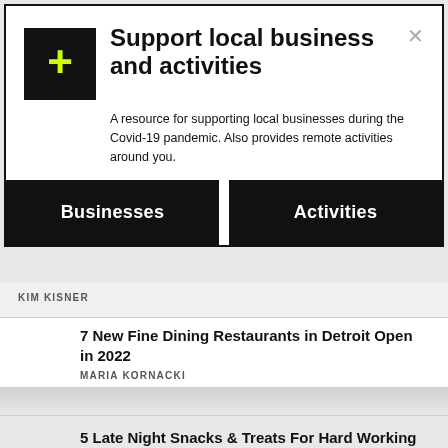Support local business and activities
A resource for supporting local businesses during the Covid-19 pandemic. Also provides remote activities around you.
Businesses
Activities
KIM KISNER
7 New Fine Dining Restaurants in Detroit Open in 2022
MARIA KORNACKI
5 Late Night Snacks & Treats For Hard Working College Students in Detroit
MARIA KORNACKI